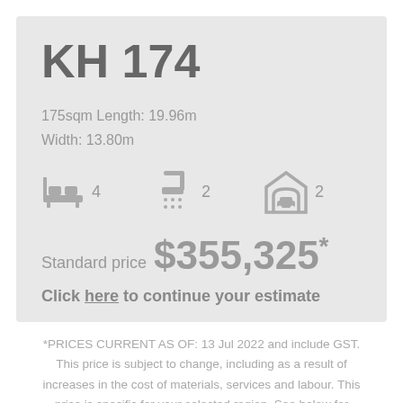KH 174
175sqm Length: 19.96m
Width: 13.80m
[Figure (infographic): Icons row: bed icon with 4, shower icon with 2, garage icon with 2]
Standard price $355,325*
Click here to continue your estimate
*PRICES CURRENT AS OF: 13 Jul 2022 and include GST. This price is subject to change, including as a result of increases in the cost of materials, services and labour. This price is specific for your selected region. See below for